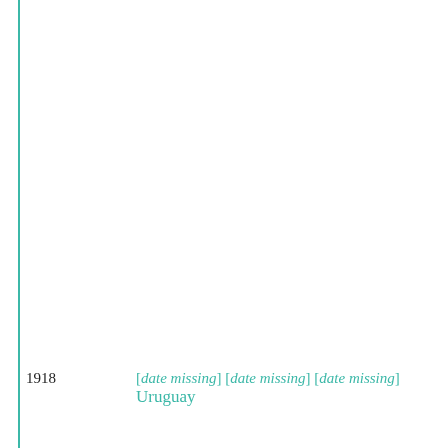1918   [date missing] [date missing] [date missing] Uruguay